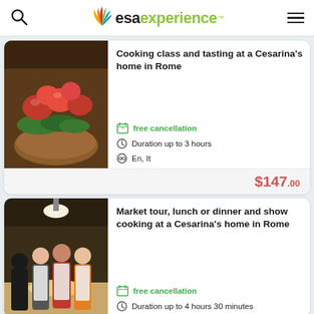esa experience
[Figure (photo): Bruschetta with tomatoes and greens on bread — cooking class listing image]
Cooking class and tasting at a Cesarina's home in Rome
free cancellation
Duration up to 3 hours
En, It
$147.00
[Figure (photo): Group of people in white aprons at cooking class — market tour listing image]
Market tour, lunch or dinner and show cooking at a Cesarina's home in Rome
free cancellation
Duration up to 4 hours 30 minutes